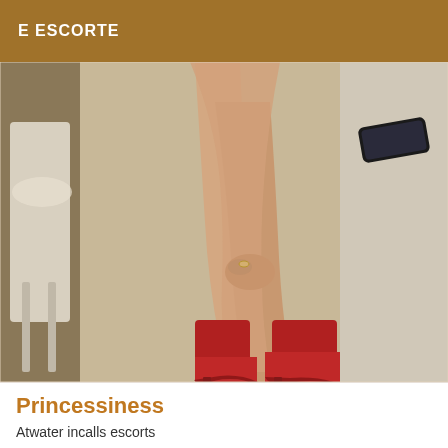E ESCORTE
[Figure (photo): Photo showing crossed legs of a person seated on a white chair, wearing red ankle boots with open toes, on a marble-tiled floor. A smartphone is visible in the background on a white surface.]
Princessiness
Atwater incalls escorts